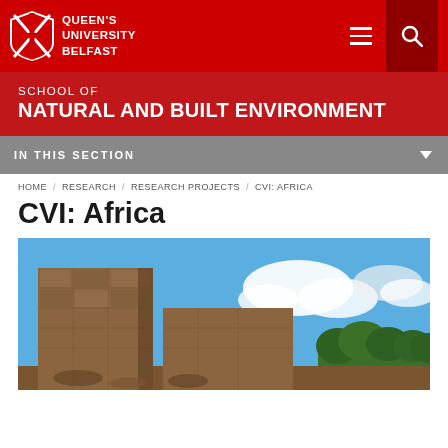Queen's University Belfast
SCHOOL OF
NATURAL AND BUILT ENVIRONMENT
IN THIS SECTION
HOME / RESEARCH / RESEARCH PROJECTS / CVI: AFRICA
CVI: Africa
[Figure (photo): Photograph of ancient stone ruins with a blue sky and white clouds, with trees visible in the background. The image shows large stone walls or towers made of rough-cut stone.]